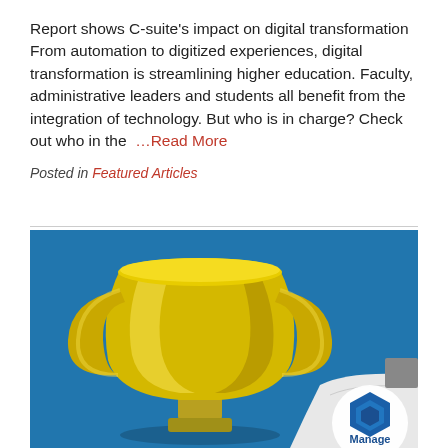Report shows C-suite's impact on digital transformation From automation to digitized experiences, digital transformation is streamlining higher education. Faculty, administrative leaders and students all benefit from the integration of technology. But who is in charge? Check out who in the …Read More
Posted in Featured Articles
[Figure (photo): A gold trophy cup on a blue background, with a partially visible white page and a blue hexagonal logo with 'Manage' text in the bottom right corner.]